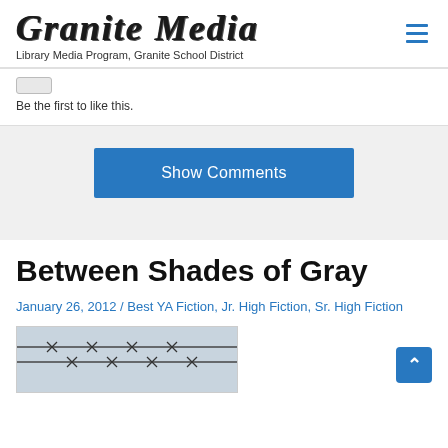Granite Media — Library Media Program, Granite School District
Be the first to like this.
Show Comments
Between Shades of Gray
January 26, 2012 / Best YA Fiction, Jr. High Fiction, Sr. High Fiction
[Figure (photo): A photograph showing barbed wire against a gray sky, related to the book Between Shades of Gray]